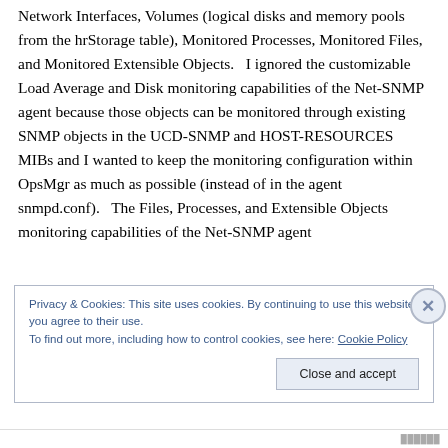Network Interfaces, Volumes (logical disks and memory pools from the hrStorage table), Monitored Processes, Monitored Files, and Monitored Extensible Objects.   I ignored the customizable Load Average and Disk monitoring capabilities of the Net-SNMP agent because those objects can be monitored through existing SNMP objects in the UCD-SNMP and HOST-RESOURCES MIBs and I wanted to keep the monitoring configuration within OpsMgr as much as possible (instead of in the agent snmpd.conf).   The Files, Processes, and Extensible Objects monitoring capabilities of the Net-SNMP agent
Privacy & Cookies: This site uses cookies. By continuing to use this website, you agree to their use.
To find out more, including how to control cookies, see here: Cookie Policy
Close and accept